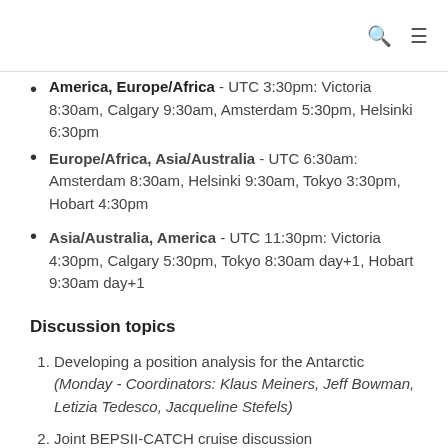America, Europe/Africa - UTC 3:30pm: Victoria 8:30am, Calgary 9:30am, Amsterdam 5:30pm, Helsinki 6:30pm
Europe/Africa, Asia/Australia - UTC 6:30am: Amsterdam 8:30am, Helsinki 9:30am, Tokyo 3:30pm, Hobart 4:30pm
Asia/Australia, America - UTC 11:30pm: Victoria 4:30pm, Calgary 5:30pm, Tokyo 8:30am day+1, Hobart 9:30am day+1
Discussion topics
Developing a position analysis for the Antarctic (Monday - Coordinators: Klaus Meiners, Jeff Bowman, Letizia Tedesco, Jacqueline Stefels)
Joint BEPSII-CATCH cruise discussion (Tuesday - Coordinators: Jaqueline Stefels, Delphine Lannuzel)